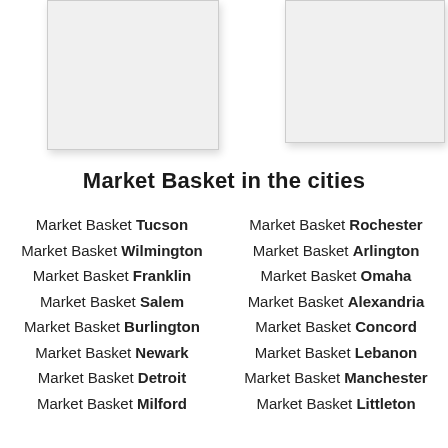[Figure (photo): Left image placeholder - partially visible]
[Figure (photo): Right image placeholder - partially visible]
Market Basket in the cities
Market Basket Tucson
Market Basket Rochester
Market Basket Wilmington
Market Basket Arlington
Market Basket Franklin
Market Basket Omaha
Market Basket Salem
Market Basket Alexandria
Market Basket Burlington
Market Basket Concord
Market Basket Newark
Market Basket Lebanon
Market Basket Detroit
Market Basket Manchester
Market Basket Milford
Market Basket Littleton